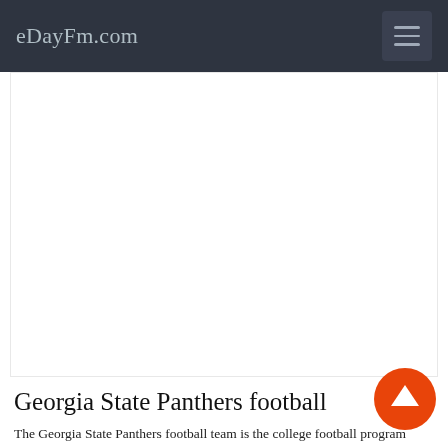eDayFm.com
[Figure (other): Large white/light gray advertisement placeholder area below the navigation header]
Georgia State Panthers football
The Georgia State Panthers football team is the college football program